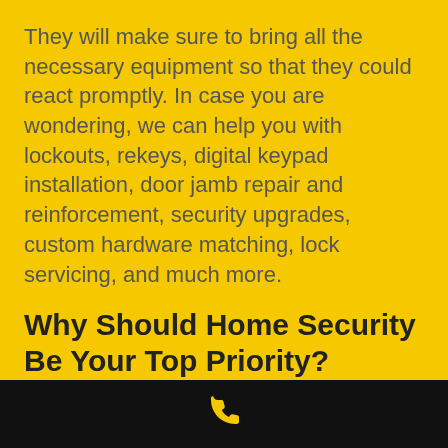They will make sure to bring all the necessary equipment so that they could react promptly. In case you are wondering, we can help you with lockouts, rekeys, digital keypad installation, door jamb repair and reinforcement, security upgrades, custom hardware matching, lock servicing, and much more.
Why Should Home Security Be Your Top Priority?
The statistics indicate that burglars present a real danger for homes in Renton
[Figure (illustration): Yellow phone/call icon on black bar at bottom of page]